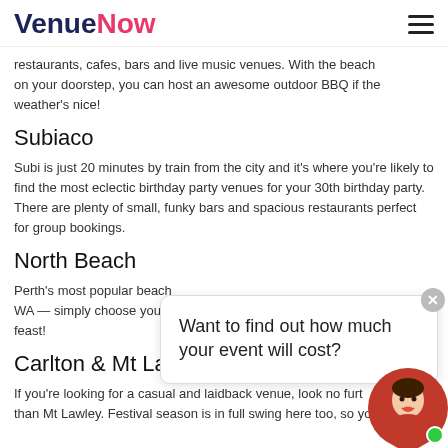VenueNow
restaurants, cafes, bars and live music venues. With the beach on your doorstep, you can host an awesome outdoor BBQ if the weather's nice!
Subiaco
Subi is just 20 minutes by train from the city and it's where you're likely to find the most eclectic birthday party venues for your 30th birthday party. There are plenty of small, funky bars and spacious restaurants perfect for group bookings.
North Beach
Perth's most popular beach... WA — simply choose your... feast!
Carlton & Mt Lawley
If you're looking for a casual and laidback venue, look no furth... than Mt Lawley. Festival season is in full swing here too, so you
[Figure (other): Chat popup with text 'Want to find out how much your event will cost?' and a close button, with a female avatar photo with green online indicator dot at bottom right.]